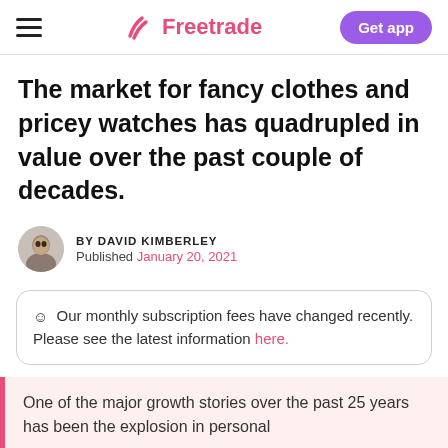Freetrade | Get app
The market for fancy clothes and pricey watches has quadrupled in value over the past couple of decades.
BY DAVID KIMBERLEY
Published January 20, 2021
☺ Our monthly subscription fees have changed recently. Please see the latest information here.
One of the major growth stories over the past 25 years has been the explosion in personal